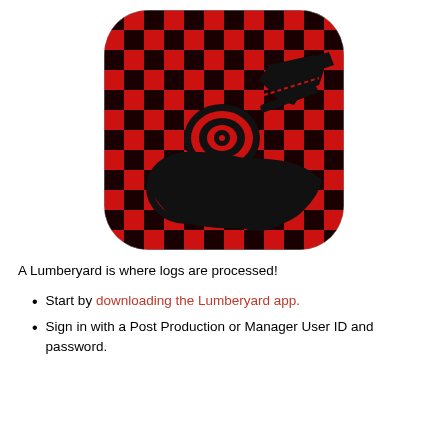[Figure (logo): Lumberyard app icon: red and black buffalo plaid/checkered background with rounded corners, featuring a black silhouette of stacked logs with red concentric ring cross-sections (tree rings) visible on the cut ends, and a chainsaw silhouette in the upper right.]
A Lumberyard is where logs are processed!
Start by downloading the Lumberyard app.
Sign in with a Post Production or Manager User ID and password.